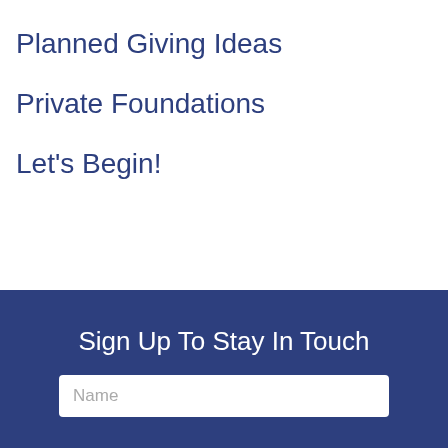Planned Giving Ideas
Private Foundations
Let's Begin!
Sign Up To Stay In Touch
Name